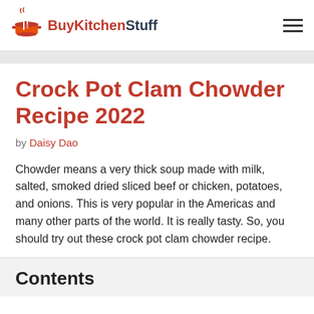[Figure (logo): BuyKitchenStuff logo with orange pot and fork/knife icon and site name]
Crock Pot Clam Chowder Recipe 2022
by Daisy Dao
Chowder means a very thick soup made with milk, salted, smoked dried sliced beef or chicken, potatoes, and onions. This is very popular in the Americas and many other parts of the world. It is really tasty. So, you should try out these crock pot clam chowder recipe.
Contents